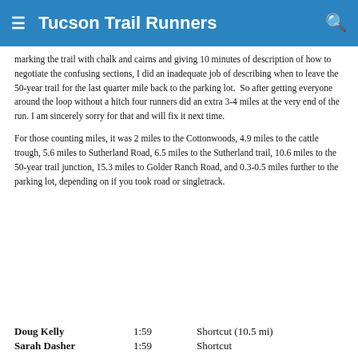Tucson Trail Runners
marking the trail with chalk and cairns and giving 10 minutes of description of how to negotiate the confusing sections, I did an inadequate job of describing when to leave the 50-year trail for the last quarter mile back to the parking lot.  So after getting everyone around the loop without a hitch four runners did an extra 3-4 miles at the very end of the run. I am sincerely sorry for that and will fix it next time.
For those counting miles, it was 2 miles to the Cottonwoods, 4.9 miles to the cattle trough, 5.6 miles to Sutherland Road, 6.5 miles to the Sutherland trail, 10.6 miles to the 50-year trail junction, 15.3 miles to Golder Ranch Road, and 0.3-0.5 miles further to the parking lot, depending on if you took road or singletrack.
| Name | Time | Route |
| --- | --- | --- |
| Doug Kelly | 1:59 | Shortcut (10.5 mi) |
| Sarah Dasher | 1:59 | Shortcut |